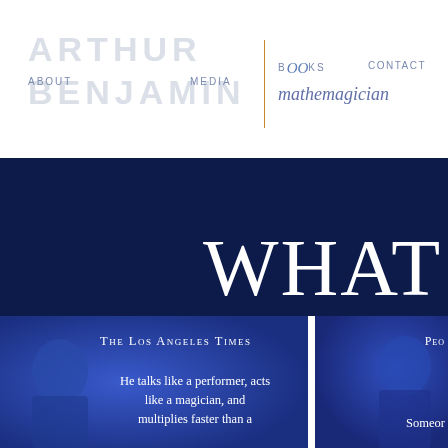ARTHUR BENJAMIN — ABOUT | MEDIA | BOOKS | CONTACT | mathemagician
WHAT
The Los Angeles Times
He talks like a performer, acts like a magician, and multiplies faster than a
Peo
Someor